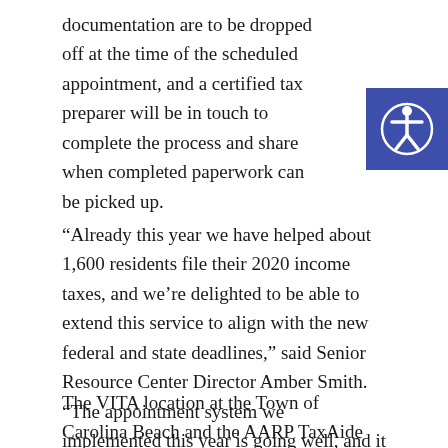documentation are to be dropped off at the time of the scheduled appointment, and a certified tax preparer will be in touch to complete the process and share when completed paperwork can be picked up.
“Already this year we have helped about 1,600 residents file their 2020 income taxes, and we’re delighted to be able to extend this service to align with the new federal and state deadlines,” said Senior Resource Center Director Amber Smith. “The appointment system we implemented this year is going well, and it allows us to continue this important service for the community while also keeping the public and our volunteers safe.”
The VITA location at the Town of Carolina Beach and the AARP TaxAide location at the New Hanover County Main Library are unable to extend their season and both of these